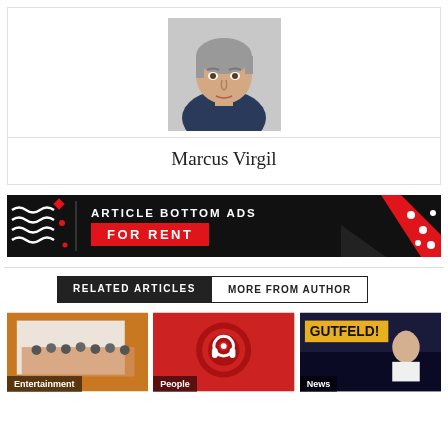[Figure (photo): Author photo of Marcus Virgil, a middle-aged person with grey hair looking at the camera]
Marcus Virgil
[Figure (infographic): Advertisement banner: ARTICLE BOTTOM ADS FOR RENT, black and red design with wavy lines on left and red triangles on right]
RELATED ARTICLES | MORE FROM AUTHOR
[Figure (photo): Entertainment thumbnail: group of children/students in a room]
[Figure (photo): People thumbnail: red circular logo with headphone icon]
[Figure (photo): News thumbnail: TV show Gutfeld with host sitting at desk]